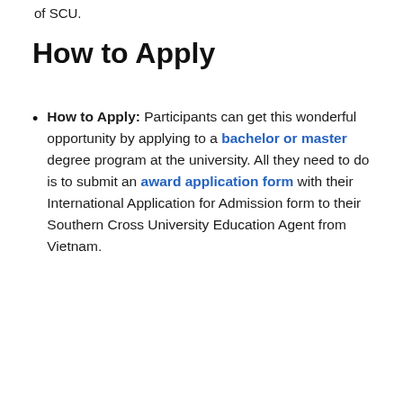of SCU.
How to Apply
How to Apply: Participants can get this wonderful opportunity by applying to a bachelor or master degree program at the university. All they need to do is to submit an award application form with their International Application for Admission form to their Southern Cross University Education Agent from Vietnam.